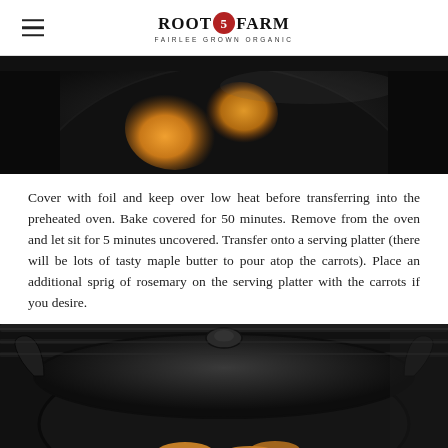Root 5 Farm — Fairlee Grown Organic
[Figure (photo): Cast iron skillet with glazed carrot pieces, top view, partially cropped]
Cover with foil and keep over low heat before transferring into the preheated oven. Bake covered for 50 minutes. Remove from the oven and let sit for 5 minutes uncovered. Transfer onto a serving platter (there will be lots of tasty maple butter to pour atop the carrots). Place an additional sprig of rosemary on the serving platter with the carrots if you desire.
[Figure (photo): Cast iron skillet with lid on stovetop, carrots visible below the lid]